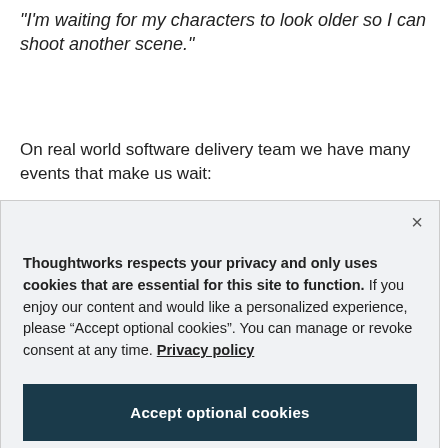"I'm waiting for my characters to look older so I can shoot another scene."
On real world software delivery team we have many events that make us wait:
[Figure (screenshot): Cookie consent modal dialog with close button (×), bold header text about Thoughtworks privacy policy, body text about optional cookies, a privacy policy link, an 'Accept optional cookies' button, and a 'Manage preferences' button, all on a light grey background.]